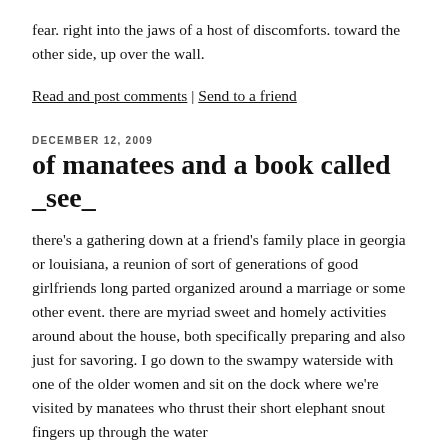fear. right into the jaws of a host of discomforts. toward the other side, up over the wall.
Read and post comments | Send to a friend
DECEMBER 12, 2009
of manatees and a book called _see_
there's a gathering down at a friend's family place in georgia or louisiana, a reunion of sort of generations of good girlfriends long parted organized around a marriage or some other event. there are myriad sweet and homely activities around about the house, both specifically preparing and also just for savoring. I go down to the swampy waterside with one of the older women and sit on the dock where we're visited by manatees who thrust their short elephant snout fingers up through the water